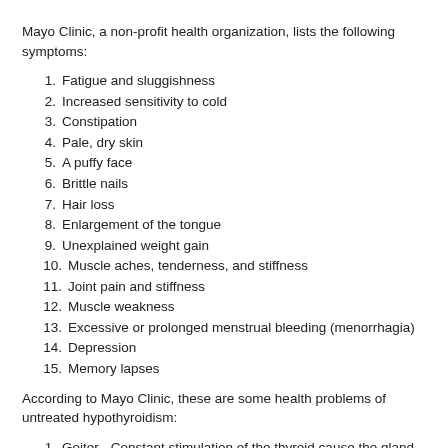Mayo Clinic, a non-profit health organization, lists the following symptoms:
1. Fatigue and sluggishness
2. Increased sensitivity to cold
3. Constipation
4. Pale, dry skin
5. A puffy face
6. Brittle nails
7. Hair loss
8. Enlargement of the tongue
9. Unexplained weight gain
10. Muscle aches, tenderness, and stiffness
11. Joint pain and stiffness
12. Muscle weakness
13. Excessive or prolonged menstrual bleeding (menorrhagia)
14. Depression
15. Memory lapses
According to Mayo Clinic, these are some health problems of untreated hypothyroidism:
1. Goiter - Constant stimulation of the thyroid cause the gland to become enlarged. As a result, a large goiter affects appearance. Furthermore, it interferes with swallowing or breathing.
2. Heart problems - Increased risk of heart disease is associated with